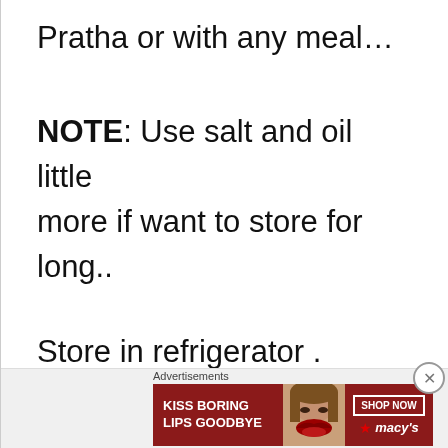Pratha or with any meal...
NOTE: Use salt and oil little more if want to store for long..
Store in refrigerator .
Always use dry and cleaned
Advertisements
[Figure (photo): Advertisement banner: KISS BORING LIPS GOODBYE - woman's face with red lips - SHOP NOW - macys]